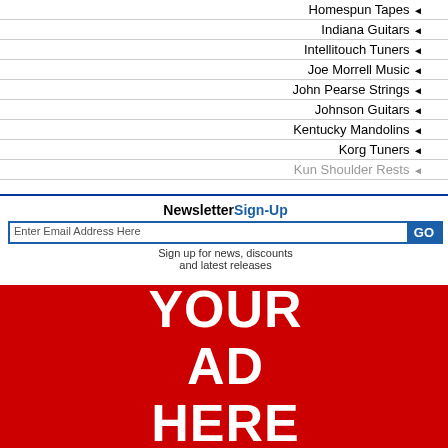Homespun Tapes ◄
Indiana Guitars ◄
Intellitouch Tuners ◄
Joe Morrell Music ◄
John Pearse Strings ◄
Johnson Guitars ◄
Kentucky Mandolins ◄
Korg Tuners ◄
Kun Shoulder Rests ◄
NewsletterSign-Up
Enter Email Address Here  GO
Sign up for news, discounts and latest releases
[Figure (illustration): Red advertisement box with white bold text: YOUR AD HERE]
Product# UBD
List Price: US $14.
| Murphy Method Beg... | NOW ON DVD! New... chords on every song... to play the bass and ... | Product# 21708DVD | List Price: US $29. |
| Murphy Method Inte... | BASS RUNS GALO... and show you how to... | Product# 21719DVD | List Price: US $29. |
| Bluegrass Bass - 2 ... | Complete two-video ... 2/3. Download now f... | Product# 641793 | List Price: US $49. |
add chat to your website